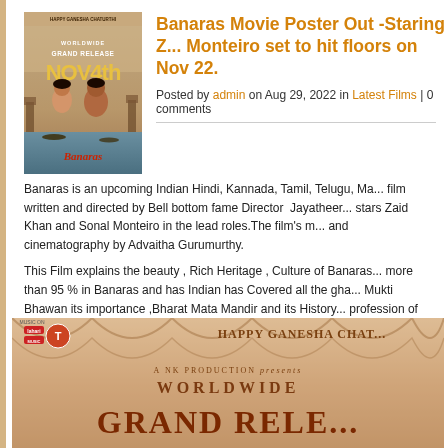[Figure (photo): Movie poster for Banaras showing two lead actors with text WORLDWIDE GRAND RELEASE NOV 4th and movie title Banaras]
Banaras Movie Poster Out -Staring Zaid Khan and Sonal Monteiro set to hit floors on Nov 22...
Posted by admin on Aug 29, 2022 in Latest Films | 0 comments
Banaras is an upcoming Indian Hindi, Kannada, Tamil, Telugu, Ma... film written and directed by Bell bottom fame Director Jayatheer... stars Zaid Khan and Sonal Monteiro in the lead roles.The film's m... and cinematography by Advaitha Gurumurthy.
This Film explains the beauty , Rich Heritage , Culture of Banaras... more than 95 % in Banaras and has Indian has Covered all the gha... Mukti Bhawan its importance ,Bharat Mata Mandir and its History... profession of Death Photography, Existing in Banaras, Blended wi... Pan India release in the Month Of Nov , The Poster out Caption T... already to be a blockbuster and the Indian Audience will look forw... and a mysterious love story.
[Figure (photo): Movie poster showing HAPPY GANESHA CHAT... text with WORLDWIDE GRAND RELEASE text and music label logos]